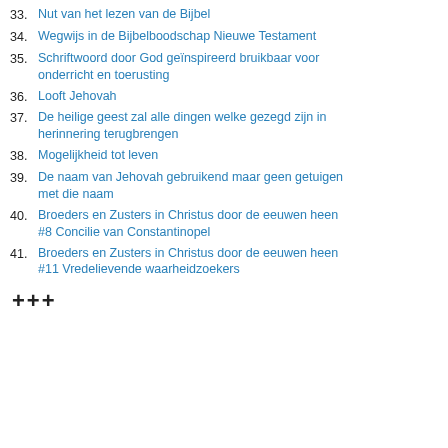33. Nut van het lezen van de Bijbel
34. Wegwijs in de Bijbelboodschap Nieuwe Testament
35. Schriftwoord door God geïnspireerd bruikbaar voor onderricht en toerusting
36. Looft Jehovah
37. De heilige geest zal alle dingen welke gezegd zijn in herinnering terugbrengen
38. Mogelijkheid tot leven
39. De naam van Jehovah gebruikend maar geen getuigen met die naam
40. Broeders en Zusters in Christus door de eeuwen heen #8 Concilie van Constantinopel
41. Broeders en Zusters in Christus door de eeuwen heen #11 Vredelievende waarheidzoekers
+++